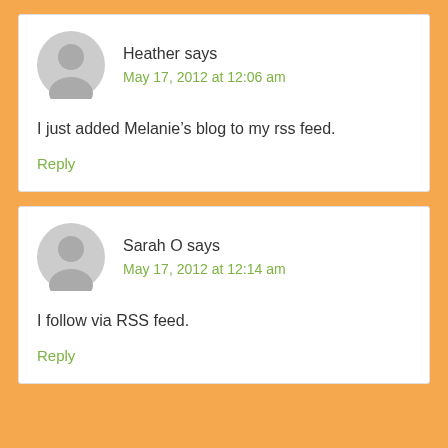Heather says
May 17, 2012 at 12:06 am
I just added Melanie’s blog to my rss feed.
Reply
Sarah O says
May 17, 2012 at 12:14 am
I follow via RSS feed.
Reply